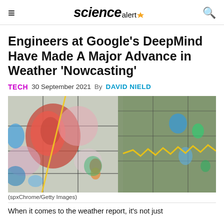ScienceAlert
Engineers at Google's DeepMind Have Made A Major Advance in Weather 'Nowcasting'
TECH  30 September 2021  By DAVID NIELD
[Figure (photo): Weather radar map showing precipitation patterns over a US region, with colors ranging from blue to red indicating intensity, overlaid with county/state borders and a yellow line. (spxChrome/Getty Images)]
(spxChrome/Getty Images)
When it comes to the weather report, it's not just